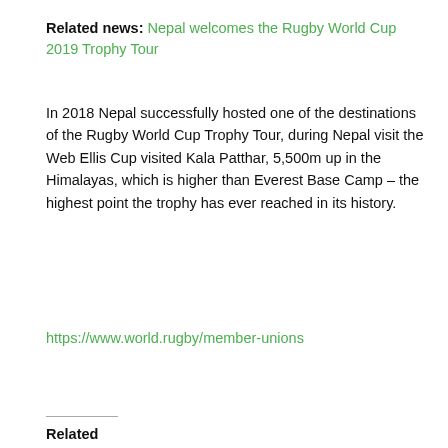Related news: Nepal welcomes the Rugby World Cup 2019 Trophy Tour
In 2018 Nepal successfully hosted one of the destinations of the Rugby World Cup Trophy Tour, during Nepal visit the Web Ellis Cup visited Kala Patthar, 5,500m up in the Himalayas, which is higher than Everest Base Camp – the highest point the trophy has ever reached in its history.
https://www.world.rugby/member-unions
Related
Filed Under: Featured, Iran, Lao, Nepal, News
[Figure (screenshot): Banner advertisement with blue section containing a bear logo on the left and white text 'SAVE UP TO' on black background on the right.]